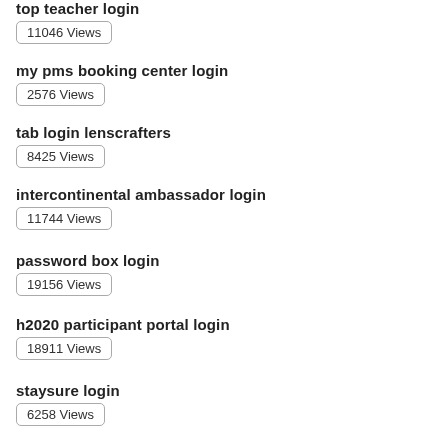top teacher login
11046 Views
my pms booking center login
2576 Views
tab login lenscrafters
8425 Views
intercontinental ambassador login
11744 Views
password box login
19156 Views
h2020 participant portal login
18911 Views
staysure login
6258 Views